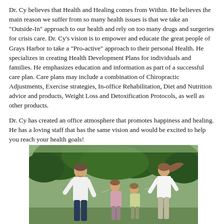Dr. Cy believes that Health and Healing comes from Within. He believes the main reason we suffer from so many health issues is that we take an "Outside-In" approach to our health and rely on too many drugs and surgeries for crisis care. Dr. Cy's vision is to empower and educate the great people of Grays Harbor to take a "Pro-active" approach to their personal Health. He specializes in creating Health Development Plans for individuals and families. He emphasizes education and information as part of a successful care plan. Care plans may include a combination of Chiropractic Adjustments, Exercise strategies, In-office Rehabilitation, Diet and Nutrition advice and products, Weight Loss and Detoxification Protocols, as well as other products.
Dr. Cy has created an office atmosphere that promotes happiness and healing. He has a loving staff that has the same vision and would be excited to help you reach your health goals!
[Figure (photo): A happy family (man, woman, two children) running outdoors in a field with trees in the background, all wearing white.]